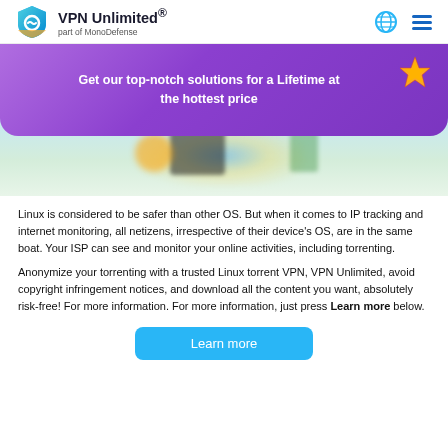VPN Unlimited® part of MonoDefense
[Figure (illustration): Promotional banner with purple gradient background showing text 'Get our top-notch solutions for a Lifetime at the hottest price' with a starfish decoration and device imagery below]
Linux is considered to be safer than other OS. But when it comes to IP tracking and internet monitoring, all netizens, irrespective of their device's OS, are in the same boat. Your ISP can see and monitor your online activities, including torrenting.
Anonymize your torrenting with a trusted Linux torrent VPN, VPN Unlimited, avoid copyright infringement notices, and download all the content you want, absolutely risk-free! For more information. For more information, just press Learn more below.
Learn more